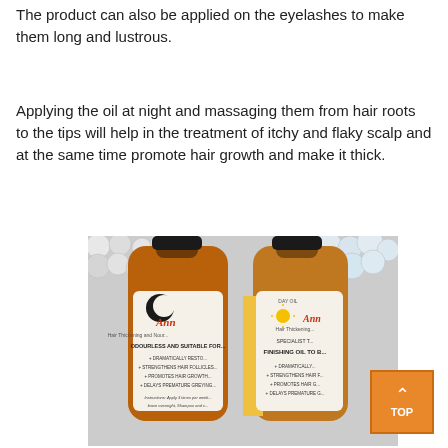The product can also be applied on the eyelashes to make them long and lustrous.
Applying the oil at night and massaging them from hair roots to the tips will help in the treatment of itchy and flaky scalp and at the same time promote hair growth and make it thick.
[Figure (photo): Two bottles of Ann hair thickening oil products — a Night Oil labeled 'Odourless and Suitable for...' and a Day Oil labeled 'Finishing Oil To B...' — surrounded by pearl beads in the background.]